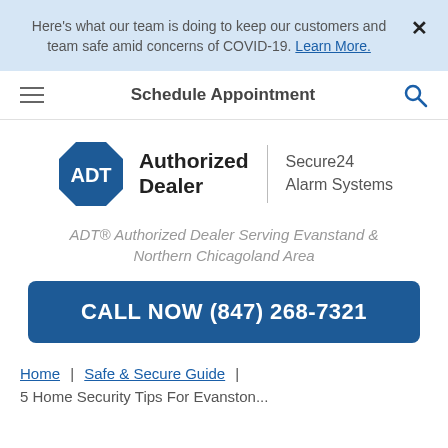Here's what our team is doing to keep our customers and team safe amid concerns of COVID-19. Learn More.
Schedule Appointment
[Figure (logo): ADT Authorized Dealer logo with blue octagon and 'Secure24 Alarm Systems' text]
ADT® Authorized Dealer Serving Evanstand & Northern Chicagoland Area
CALL NOW (847) 268-7321
Home | Safe & Secure Guide |
5 Home Security Tips For Evanston...